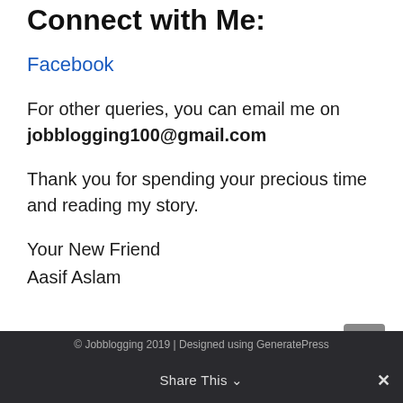Connect with Me:
Facebook
For other queries, you can email me on jobblogging100@gmail.com
Thank you for spending your precious time and reading my story.
Your New Friend
Aasif Aslam
© Jobblogging 2019 | Designed using GeneratePress
Share This ∨  ✕